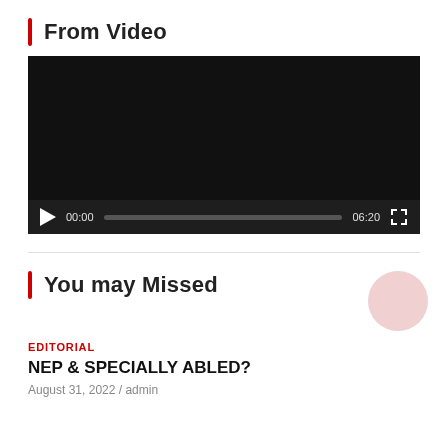From Video
[Figure (screenshot): Embedded video player showing a dark/black video frame with playback controls at the bottom: play button, timestamp 00:00, progress bar (grey), end time 06:20, and fullscreen button.]
You may Missed
EDITORIAL
NEP & SPECIALLY ABLED?
August 31, 2022 / admin